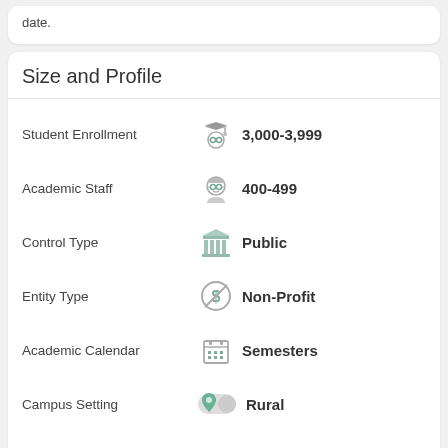date.
Size and Profile
| Property | Value |
| --- | --- |
| Student Enrollment | 3,000-3,999 |
| Academic Staff | 400-499 |
| Control Type | Public |
| Entity Type | Non-Profit |
| Academic Calendar | Semesters |
| Campus Setting | Rural |
| Religious Affiliation | None |